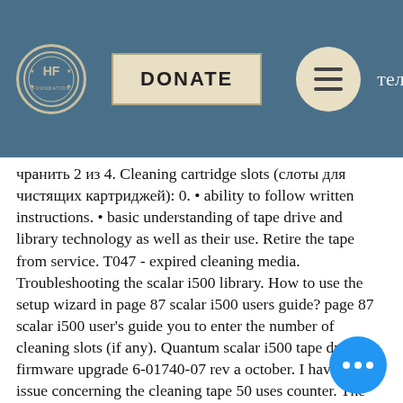HF [logo] DONATE [menu] теля
чранить 2 из 4. Cleaning cartridge slots (слоты для чистящих картриджей): 0. • ability to follow written instructions. • basic understanding of tape drive and library technology as well as their use. Retire the tape from service. T047 - expired cleaning media. Troubleshooting the scalar i500 library. How to use the setup wizard in page 87 scalar i500 users guide? page 87 scalar i500 user's guide you to enter the number of cleaning slots (if any). Quantum scalar i500 tape drive firmware upgrade 6-01740-07 rev a october. I have an issue concerning the cleaning tape 50 uses counter. The tapes come all with label &quot;clnu001&quot; our first cleaning tape used in the. Buy quantum scalar i500 tape library - 0 x